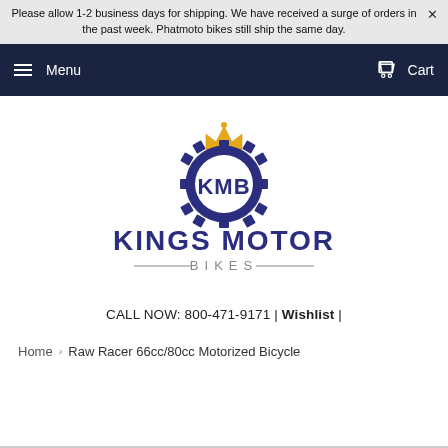Please allow 1-2 business days for shipping. We have received a surge of orders in the past week. Phatmoto bikes still ship the same day.
Menu   Cart
[Figure (logo): Kings Motor Bikes logo: gear with crown on top, KMB initials inside gear, 'KINGS MOTOR' in large navy text below, 'BIKES' in spaced gray text below that with decorative lines on each side]
CALL NOW: 800-471-9171 | Wishlist |
Home › Raw Racer 66cc/80cc Motorized Bicycle